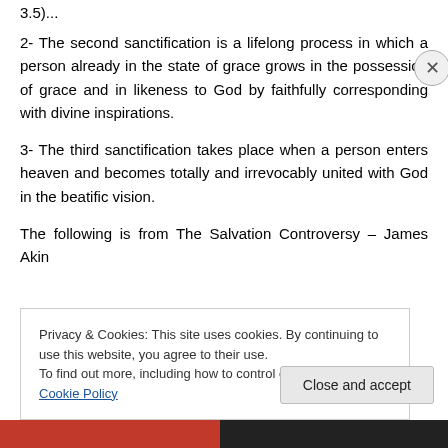3.5)...
2- The second sanctification is a lifelong process in which a person already in the state of grace grows in the possession of grace and in likeness to God by faithfully corresponding with divine inspirations.
3- The third sanctification takes place when a person enters heaven and becomes totally and irrevocably united with God in the beatific vision.
The following is from The Salvation Controversy – James Akin...
Privacy & Cookies: This site uses cookies. By continuing to use this website, you agree to their use.
To find out more, including how to control cookies, see here: Cookie Policy